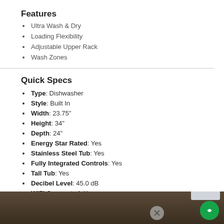Features
Ultra Wash & Dry
Loading Flexibility
Adjustable Upper Rack
Wash Zones
Quick Specs
Type: Dishwasher
Style: Built In
Width: 23.75"
Height: 34"
Depth: 24"
Energy Star Rated: Yes
Stainless Steel Tub: Yes
Fully Integrated Controls: Yes
Tall Tub: Yes
Decibel Level: 45.0 dB
WiFi Connected: Yes
See More
[Figure (photo): Partial view of a dark food/kitchen scene at the bottom of the page]